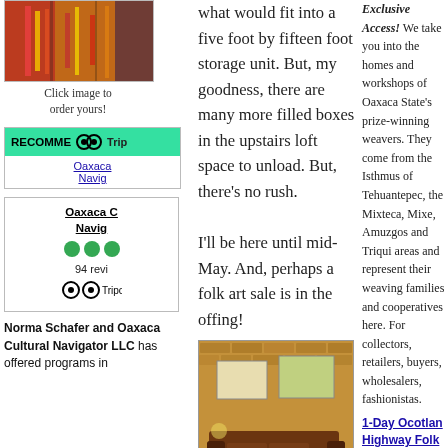[Figure (photo): Colorful folk art item image with reds, yellows, and blacks]
Click image to order yours!
[Figure (logo): TripAdvisor Recommended badge with green background and owl logo]
Oaxaca Navig
[Figure (other): TripAdvisor box showing Oaxaca C Navig with 94 reviews and TripAdvisor logo]
Norma Schafer and Oaxaca Cultural Navigator LLC has offered programs in
what would fit into a five foot by fifteen foot storage unit. But, my goodness, there are many more filled boxes in the upstairs loft space to unload. But, there's no rush.

I'll be here until mid-May. And, perhaps a folk art sale is in the offing!
[Figure (photo): Old brick tobacco warehouse walls in urban Durham condo interior with brown leather sofa and framed artwork]
Old brick tobacco warehouse walls in urban Durham condo
Exclusive Access! We take you into the homes and workshops of Oaxaca State's prize-winning weavers. They come from the Isthmus of Tehuantepec, the Mixteca, Mixe, Amuzgos and Triqui areas and represent their weaving families and cooperatives here. For collectors, retailers, buyers, wholesalers, fashionistas.
1-Day Ocotlan Highway Folk Art Study Tour